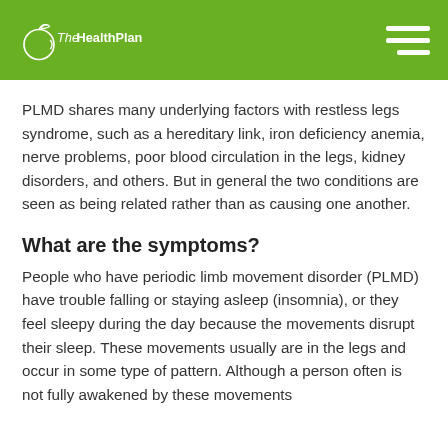TheHealthPlan
PLMD shares many underlying factors with restless legs syndrome, such as a hereditary link, iron deficiency anemia, nerve problems, poor blood circulation in the legs, kidney disorders, and others. But in general the two conditions are seen as being related rather than as causing one another.
What are the symptoms?
People who have periodic limb movement disorder (PLMD) have trouble falling or staying asleep (insomnia), or they feel sleepy during the day because the movements disrupt their sleep. These movements usually are in the legs and occur in some type of pattern. Although a person often is not fully awakened by these movements